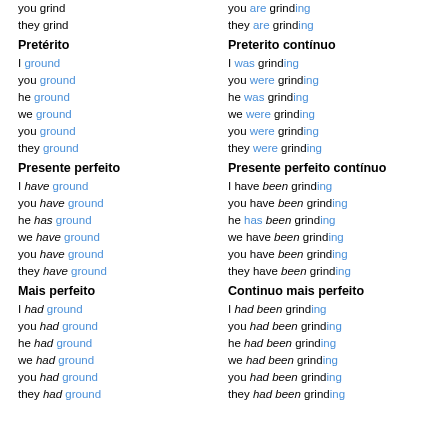you grind
they grind
you are grinding
they are grinding
Pretérito
I ground
you ground
he ground
we ground
you ground
they ground
Preterito contínuo
I was grinding
you were grinding
he was grinding
we were grinding
you were grinding
they were grinding
Presente perfeito
I have ground
you have ground
he has ground
we have ground
you have ground
they have ground
Presente perfeito contínuo
I have been grinding
you have been grinding
he has been grinding
we have been grinding
you have been grinding
they have been grinding
Mais perfeito
I had ground
you had ground
he had ground
we had ground
you had ground
they had ground
Continuo mais perfeito
I had been grinding
you had been grinding
he had been grinding
we had been grinding
you had been grinding
they had been grinding